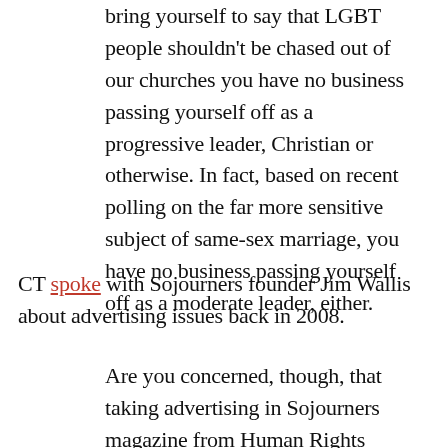bring yourself to say that LGBT people shouldn't be chased out of our churches you have no business passing yourself off as a progressive leader, Christian or otherwise. In fact, based on recent polling on the far more sensitive subject of same-sex marriage, you have no business passing yourself off as a moderate leader, either.
CT spoke with Sojourners founder Jim Wallis about advertising issues back in 2008.
Are you concerned, though, that taking advertising in Sojourners magazine from Human Rights Campaign [a gay-